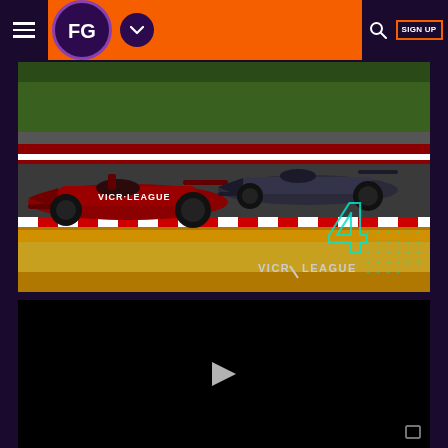FG navigation bar with logo, dropdown, search, and SIGN UP
[Figure (photo): Formula racing cars on track — two dark/red cars racing closely on a circuit, with trackside barriers and greenery in background. VicR League logo and teal number 4 watermark in lower right corner.]
[Figure (screenshot): Black video player area with a white play button triangle in the center and video controls at bottom right.]